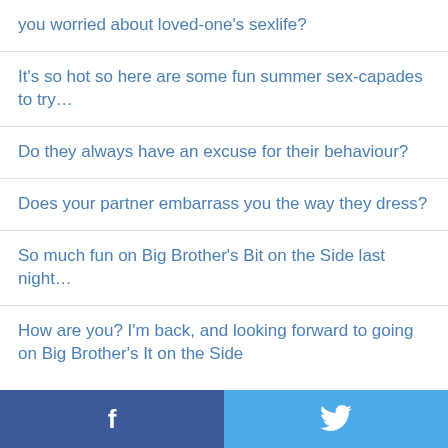you worried about loved-one's sexlife?
It's so hot so here are some fun summer sex-capades to try…
Do they always have an excuse for their behaviour?
Does your partner embarrass you the way they dress?
So much fun on Big Brother's Bit on the Side last night…
How are you? I'm back, and looking forward to going on Big Brother's It on the Side
Facebook | Twitter social share bar